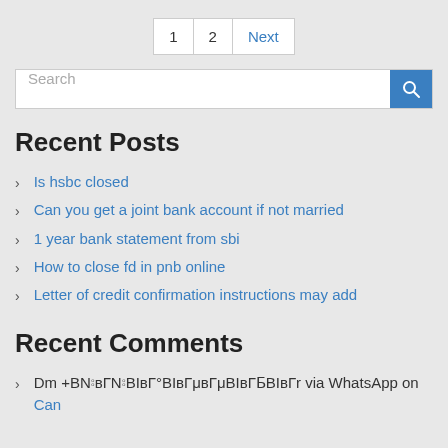1  2  Next
Search
Recent Posts
Is hsbc closed
Can you get a joint bank account if not married
1 year bank statement from sbi
How to close fd in pnb online
Letter of credit confirmation instructions may add
Recent Comments
Dm +BNoвГNoBIвГ°BIвГμвГμBIвГ¶BIвГr via WhatsApp on Can